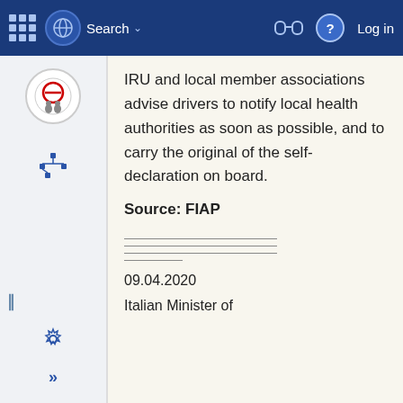[Figure (screenshot): Top navigation bar with grid icon, globe icon, Search dropdown, binoculars icon, help icon, and Log in link on blue background]
[Figure (screenshot): Left sidebar with circular logo, tree/hierarchy icon, collapse handle, settings gear icon, and double-arrow icon]
IRU and local member associations advise drivers to notify local health authorities as soon as possible, and to carry the original of the self-declaration on board.
Source: FIAP
09.04.2020
Italian Minister of